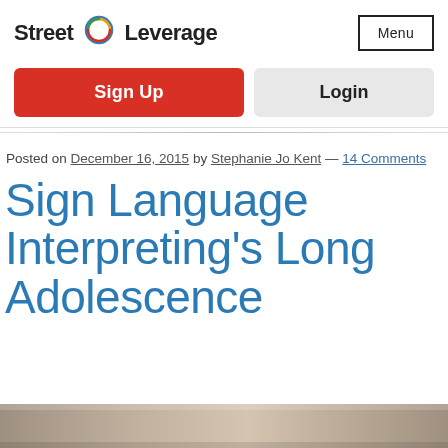Street Leverage
Menu
Sign Up
Login
Posted on December 16, 2015 by Stephanie Jo Kent — 14 Comments
Sign Language Interpreting's Long Adolescence
[Figure (photo): Brown/tan gradient image strip at bottom of page]